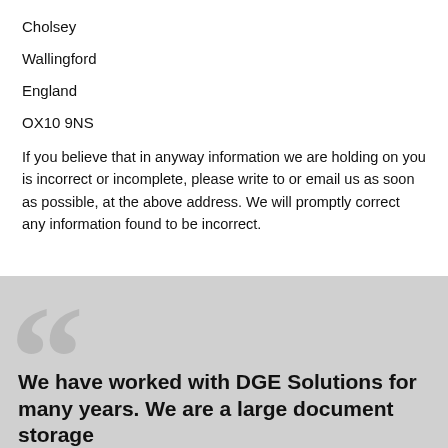Cholsey
Wallingford
England
OX10 9NS
If you believe that in anyway information we are holding on you is incorrect or incomplete, please write to or email us as soon as possible, at the above address. We will promptly correct any information found to be incorrect.
We have worked with DGE Solutions for many years. We are a large document storage